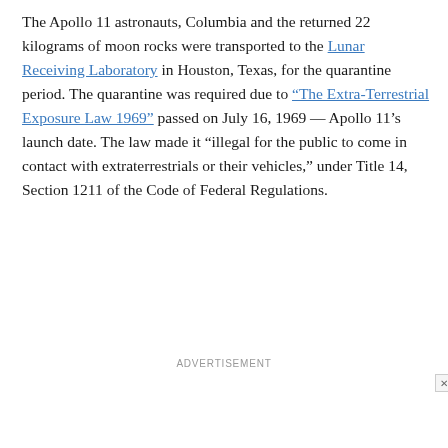The Apollo 11 astronauts, Columbia and the returned 22 kilograms of moon rocks were transported to the Lunar Receiving Laboratory in Houston, Texas, for the quarantine period. The quarantine was required due to "The Extra-Terrestrial Exposure Law 1969" passed on July 16, 1969 — Apollo 11's launch date. The law made it "illegal for the public to come in contact with extraterrestrials or their vehicles," under Title 14, Section 1211 of the Code of Federal Regulations.
[Figure (other): Advertisement banner. Text reads: 'Prevention strategies for heart attack or stroke. Schedule a consultation' with MedStar Health logo on the right.]